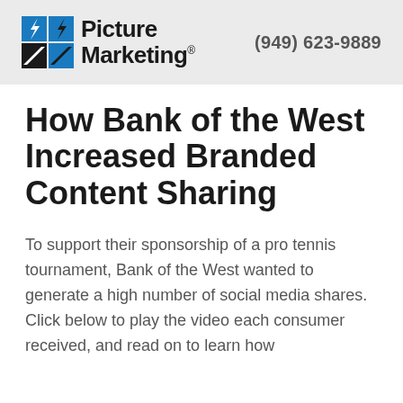[Figure (logo): Picture Marketing logo with blue and black grid icon and bold text reading 'Picture Marketing' with registered trademark symbol]
(949) 623-9889
How Bank of the West Increased Branded Content Sharing
To support their sponsorship of a pro tennis tournament, Bank of the West wanted to generate a high number of social media shares. Click below to play the video each consumer received, and read on to learn how